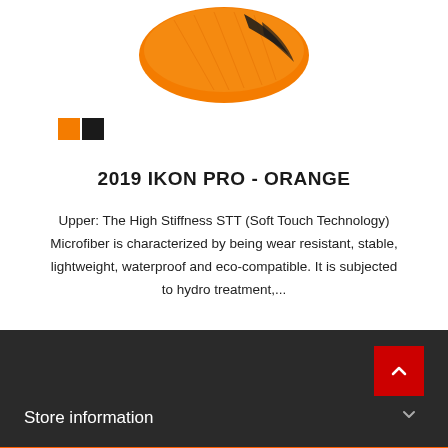[Figure (photo): Orange cycling/sports shoe, partially cropped at top of page, showing the top and front of the shoe against white background]
[Figure (other): Two small color swatches side by side: orange square and black square, indicating color options]
2019 IKON PRO - ORANGE
Upper: The High Stiffness STT (Soft Touch Technology) Microfiber is characterized by being wear resistant, stable, lightweight, waterproof and eco-compatible. It is subjected to hydro treatment,...
$159.99  $349.99
Add to cart
More info
Store information